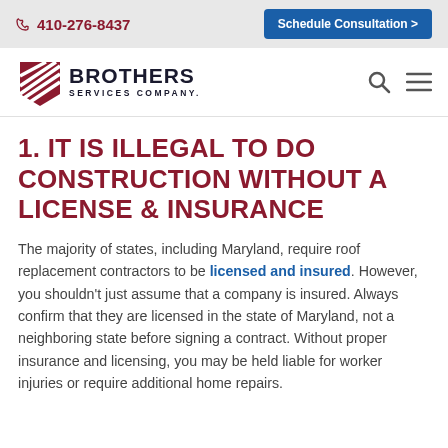410-276-8437   Schedule Consultation >
[Figure (logo): Brothers Services Company logo with diagonal striped shield icon and company name text]
1. IT IS ILLEGAL TO DO CONSTRUCTION WITHOUT A LICENSE & INSURANCE
The majority of states, including Maryland, require roof replacement contractors to be licensed and insured. However, you shouldn't just assume that a company is insured. Always confirm that they are licensed in the state of Maryland, not a neighboring state before signing a contract. Without proper insurance and licensing, you may be held liable for worker injuries or require additional home repairs.